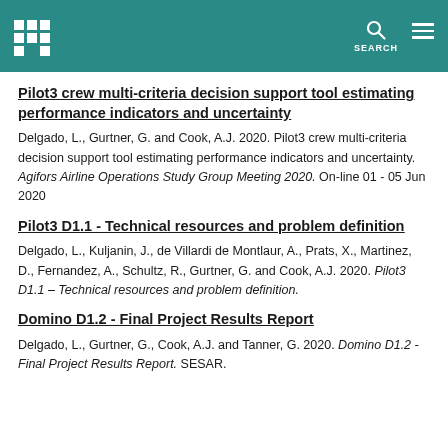Header bar with logo, search, and menu icons
Pilot3 crew multi-criteria decision support tool estimating performance indicators and uncertainty
Delgado, L., Gurtner, G. and Cook, A.J. 2020. Pilot3 crew multi-criteria decision support tool estimating performance indicators and uncertainty. Agifors Airline Operations Study Group Meeting 2020. On-line 01 - 05 Jun 2020
Pilot3 D1.1 - Technical resources and problem definition
Delgado, L., Kuljanin, J., de Villardi de Montlaur, A., Prats, X., Martinez, D., Fernandez, A., Schultz, R., Gurtner, G. and Cook, A.J. 2020. Pilot3 D1.1 - Technical resources and problem definition.
Domino D1.2 - Final Project Results Report
Delgado, L., Gurtner, G., Cook, A.J. and Tanner, G. 2020. Domino D1.2 - Final Project Results Report. SESAR.